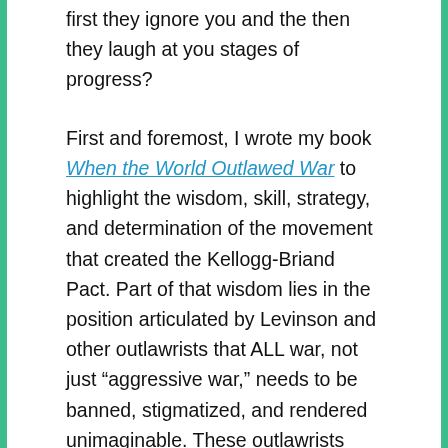first they ignore you and the then they laugh at you stages of progress?

First and foremost, I wrote my book When the World Outlawed War to highlight the wisdom, skill, strategy, and determination of the movement that created the Kellogg-Briand Pact. Part of that wisdom lies in the position articulated by Levinson and other outlawrists that ALL war, not just “aggressive war,” needs to be banned, stigmatized, and rendered unimaginable. These outlawrists often used an analogy to dueling, pointing out that not only had aggressive dueling been banned, but the entire institution eliminated, including “defensive dueling.” This is what they wanted done to war. They